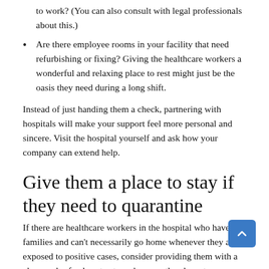to work? (You can also consult with legal professionals about this.)
Are there employee rooms in your facility that need refurbishing or fixing? Giving the healthcare workers a wonderful and relaxing place to rest might just be the oasis they need during a long shift.
Instead of just handing them a check, partnering with hospitals will make your support feel more personal and sincere. Visit the hospital yourself and ask how your company can extend help.
Give them a place to stay if they need to quarantine
If there are healthcare workers in the hospital who have families and can't necessarily go home whenever they are exposed to positive cases, consider providing them with a clean and safe place to stay whenever they have to quarantine. If your business has an extra property, consider turning it into a space where healthcare workers can quarantine while they wait out the required number of days.
This kind of help is significant because the Omicron variant is so much